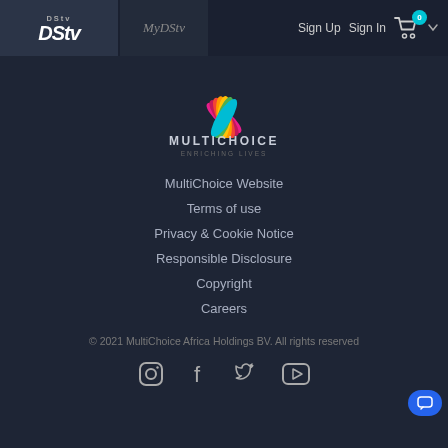DStv | MyDStv | Sign Up | Sign In
[Figure (logo): MultiChoice Enriching Lives logo with colorful petals fan design]
MultiChoice Website
Terms of use
Privacy & Cookie Notice
Responsible Disclosure
Copyright
Careers
© 2021 MultiChoice Africa Holdings BV. All rights reserved
[Figure (illustration): Social media icons: Instagram, Facebook, Twitter, YouTube]